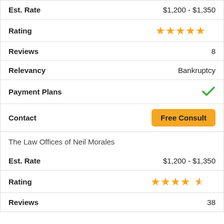| Field | Value |
| --- | --- |
| Est. Rate | $1,200 - $1,350 |
| Rating | ★★★★★ (5 stars) |
| Reviews | 8 |
| Relevancy | Bankruptcy |
| Payment Plans | ✓ |
| Contact | Free Consult |
The Law Offices of Neil Morales
| Field | Value |
| --- | --- |
| Est. Rate | $1,200 - $1,350 |
| Rating | ★★★★½ (4.5 stars) |
| Reviews | 38 |